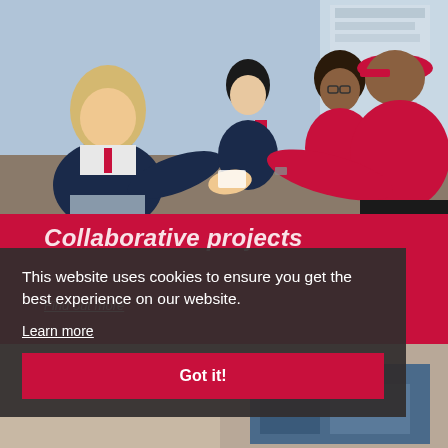[Figure (photo): Students in school uniforms sitting together, engaged in a collaborative activity, one student in a red t-shirt and red cap leaning in, exchanging something with a girl in a school blazer]
Collaborative projects
Find out more
This website uses cookies to ensure you get the best experience on our website.
Learn more
Got it!